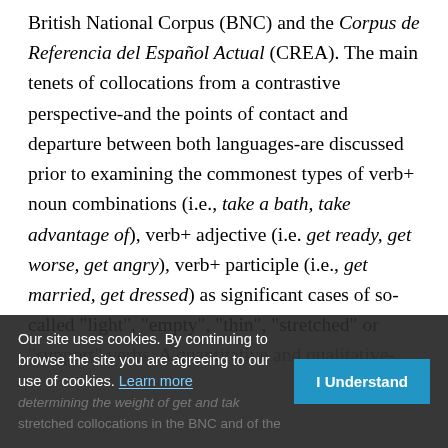British National Corpus (BNC) and the Corpus de Referencia del Español Actual (CREA). The main tenets of collocations from a contrastive perspective-and the points of contact and departure between both languages-are discussed prior to examining the commonest types of verb+ noun combinations (i.e., take a bath, take advantage of), verb+ adjective (i.e. get ready, get worse, get angry), verb+ participle (i.e., get married, get dressed) as significant cases of so-called "light", "empty", "thin", "stretched" or "support" verbs. A quantitative and qualitative- determining the weight of get and tak... stretched collocations in the BNC and of the
Our site uses cookies. By continuing to browse the site you are agreeing to our use of cookies. Learn more